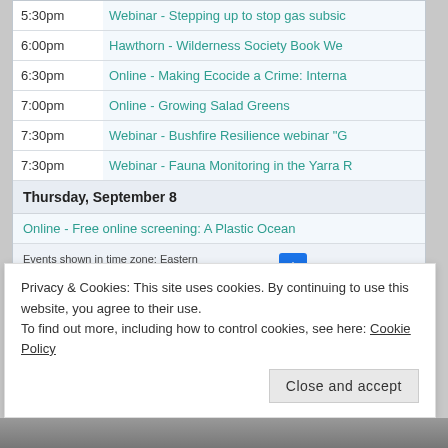| Time | Event |
| --- | --- |
| 5:30pm | Webinar - Stepping up to stop gas subsic |
| 6:00pm | Hawthorn - Wilderness Society Book We |
| 6:30pm | Online - Making Ecocide a Crime: Interna |
| 7:00pm | Online - Growing Salad Greens |
| 7:30pm | Webinar - Bushfire Resilience webinar "G |
| 7:30pm | Webinar - Fauna Monitoring in the Yarra R |
| Thursday, September 8 |  |
|  | Online - Free online screening: A Plastic Ocean |
Events shown in time zone: Eastern Australia Time - Sydney
Privacy & Cookies: This site uses cookies. By continuing to use this website, you agree to their use.
To find out more, including how to control cookies, see here: Cookie Policy
Close and accept